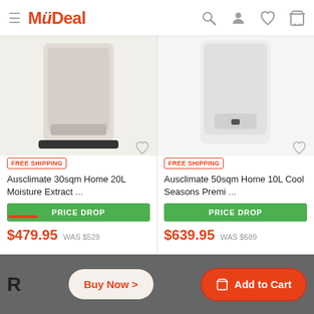MyDeal
[Figure (photo): Ausclimate 30sqm Home 20L Moisture Extractor product image - white dehumidifier unit]
[Figure (photo): Ausclimate 50sqm Home 10L Cool Seasons Premium product image - white dehumidifier unit]
FREE SHIPPING
Ausclimate 30sqm Home 20L Moisture Extract ...
PRICE DROP
$479.95 WAS $529
FREE SHIPPING
Ausclimate 50sqm Home 10L Cool Seasons Premi ...
PRICE DROP
$639.95 WAS $689